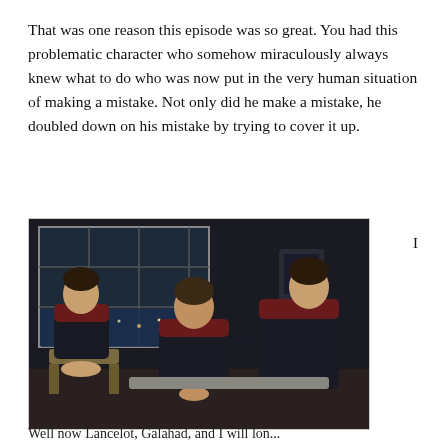That was one reason this episode was so great. You had this problematic character who somehow miraculously always knew what to do who was now put in the very human situation of making a mistake. Not only did he make a mistake, he doubled down on his mistake by trying to cover it up.
[Figure (photo): A still from a Star Trek Voyager episode showing three crew members in black and red uniforms sitting in what appears to be a lounge or mess hall area. A window with a space/city view is visible in the background. The lighting is dim and atmospheric.]
Well now Lancelot, Galahad, and I will lon...